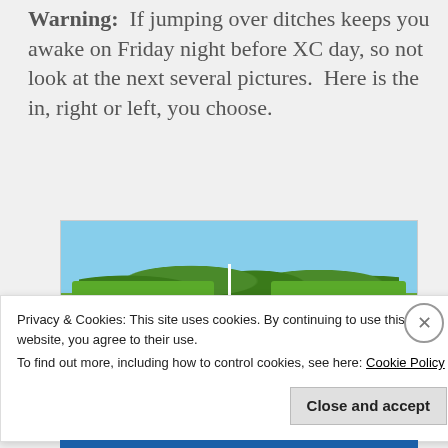Warning:  If jumping over ditches keeps you awake on Friday night before XC day, so not look at the next several pictures.  Here is the in, right or left, you choose.
[Figure (photo): Photograph of a cross-country equestrian ditch jump obstacle, showing two tall hedge/brush-covered fence panels flanking a central white pole, with wooden rails at the base, set on grass with trees in the background.]
Privacy & Cookies: This site uses cookies. By continuing to use this website, you agree to their use.
To find out more, including how to control cookies, see here: Cookie Policy